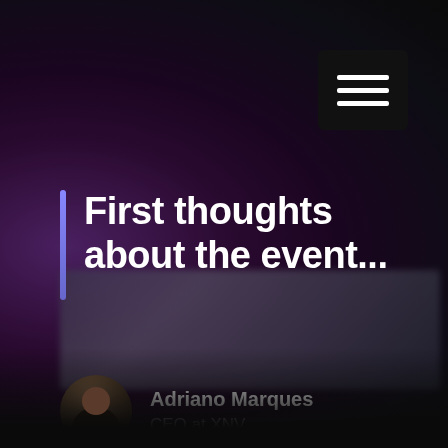[Figure (screenshot): Dark purple/black background with a blurred event image in the middle. Top-right shows a black hamburger menu button with three white lines. A large white bold title 'First thoughts about the event...' with a blue vertical bar on its left. Below is an author section with a circular avatar photo of Adriano Marques and his title 'CEO at XNV'.]
First thoughts about the event...
Adriano Marques
CEO at XNV